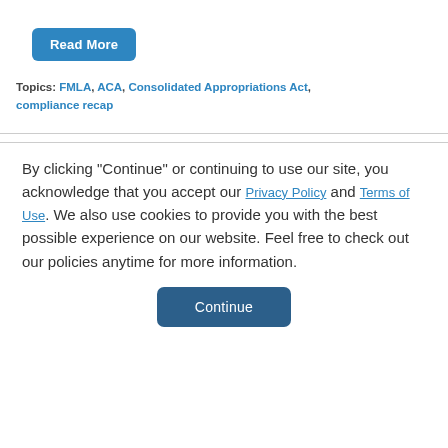[Figure (other): Blue rounded button labeled 'Read More']
Topics: FMLA, ACA, Consolidated Appropriations Act, compliance recap
By clicking "Continue" or continuing to use our site, you acknowledge that you accept our Privacy Policy and Terms of Use. We also use cookies to provide you with the best possible experience on our website. Feel free to check out our policies anytime for more information.
[Figure (other): Blue rounded button labeled 'Continue']